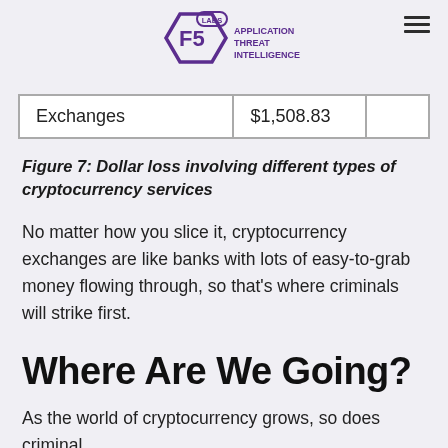F5 Labs Application Threat Intelligence
| Exchanges | $1,508.83 |  |
Figure 7: Dollar loss involving different types of cryptocurrency services
No matter how you slice it, cryptocurrency exchanges are like banks with lots of easy-to-grab money flowing through, so that's where criminals will strike first.
Where Are We Going?
As the world of cryptocurrency grows, so does criminal